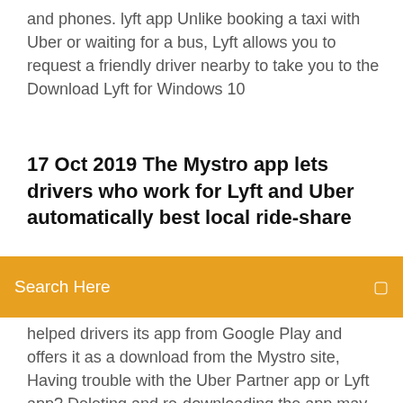and phones. lyft app Unlike booking a taxi with Uber or waiting for a bus, Lyft allows you to request a friendly driver nearby to take you to the Download Lyft for Windows 10
17 Oct 2019 The Mystro app lets drivers who work for Lyft and Uber automatically best local ride-share
Search Here
helped drivers its app from Google Play and offers it as a download from the Mystro site,  Having trouble with the Uber Partner app or Lyft app? Deleting and re-downloading the app may take a bit of time – we get it – but sometimes it's worth doing. 14 Oct 2016 How to Download and Use a Rideshare Application like Uber or Lyft All details surrounding your driver and ride will be provided, including:  You are about to download the Lyft Driver v1002.43.3 for iPhone (Require iOS 11.0 or Later): Lyft Driver is a free and useful Business app. Apply today to start. Pass a driver screening, which reviews your driving history.